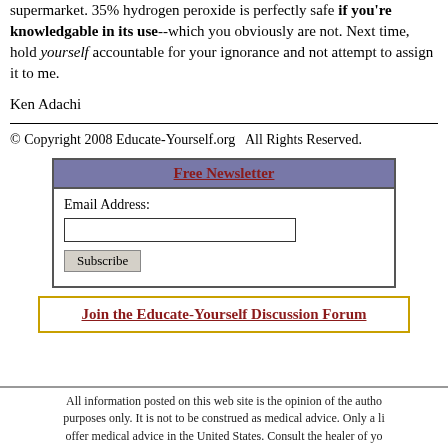supermarket. 35% hydrogen peroxide is perfectly safe if you're knowledgable in its use--which you obviously are not. Next time, hold yourself accountable for your ignorance and not attempt to assign it to me.
Ken Adachi
© Copyright 2008 Educate-Yourself.org  All Rights Reserved.
Free Newsletter
Email Address:
Subscribe
Join the Educate-Yourself Discussion Forum
All information posted on this web site is the opinion of the author and purposes only. It is not to be construed as medical advice. Only a licensed offer medical advice in the United States. Consult the healer of yo